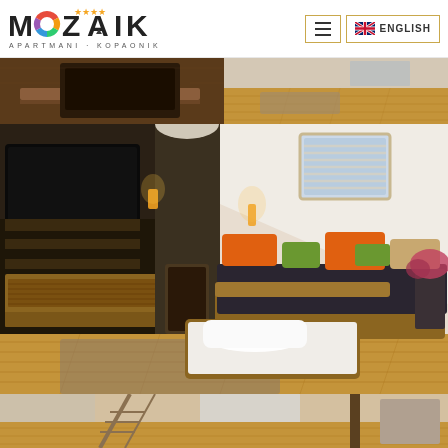MOZAIK ★★★★ APARTMANI · KOPAONIK — ENGLISH
[Figure (photo): Partial view of apartment interior showing wooden furniture and flooring, top strip photo]
[Figure (photo): Interior of a Mozaik apartment on Kopaonik showing a pull-out single bed with white pillow, a dark sofa with orange and green cushions, warm wall sconce lighting, a wall-mounted TV, wooden furniture, and a skylight window]
[Figure (photo): Bottom strip showing partial view of another apartment room interior]